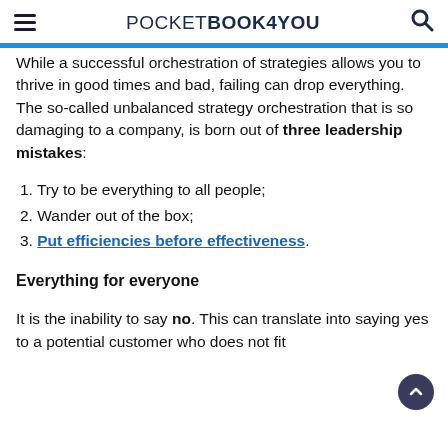pocketBOOK4you
While a successful orchestration of strategies allows you to thrive in good times and bad, failing can drop everything. The so-called unbalanced strategy orchestration that is so damaging to a company, is born out of three leadership mistakes:
1. Try to be everything to all people;
2. Wander out of the box;
3. Put efficiencies before effectiveness.
Everything for everyone
It is the inability to say no. This can translate into saying yes to a potential customer who does not fit